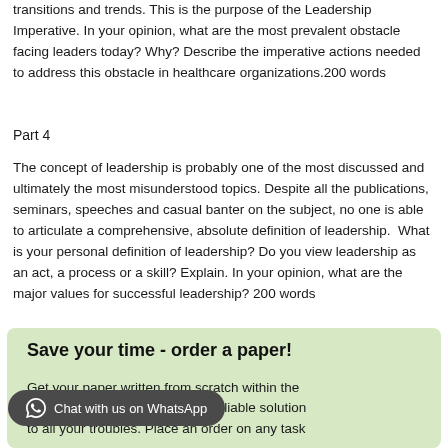transitions and trends. This is the purpose of the Leadership Imperative. In your opinion, what are the most prevalent obstacle facing leaders today? Why? Describe the imperative actions needed to address this obstacle in healthcare organizations.200 words
Part 4
The concept of leadership is probably one of the most discussed and ultimately the most misunderstood topics. Despite all the publications, seminars, speeches and casual banter on the subject, no one is able to articulate a comprehensive, absolute definition of leadership.  What is your personal definition of leadership? Do you view leadership as an act, a process or a skill? Explain. In your opinion, what are the major values for successful leadership? 200 words
Save your time - order a paper! Get your paper written from scratch within the tight deadline. Our service is a reliable solution to all your troubles. Place an order on any task